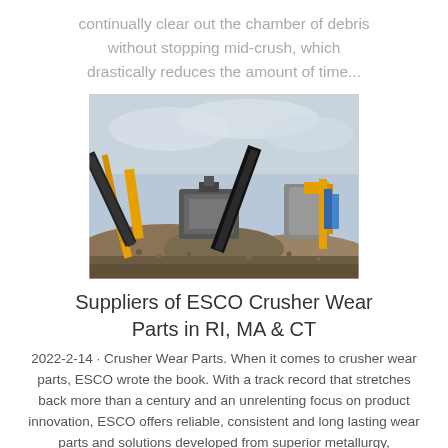continually clear out the chamber of debris without stopping mid-crush, which drastically reduces the amount of time...
[Figure (photo): Industrial rock crusher and conveyor equipment at a quarry site with piles of crushed stone and gravel in the foreground and a cloudy sky in the background.]
Suppliers of ESCO Crusher Wear Parts in RI, MA & CT
2022-2-14 · Crusher Wear Parts. When it comes to crusher wear parts, ESCO wrote the book. With a track record that stretches back more than a century and an unrelenting focus on product innovation, ESCO offers reliable, consistent and long lasting wear parts and solutions developed from superior metallurgy, manufacturing...